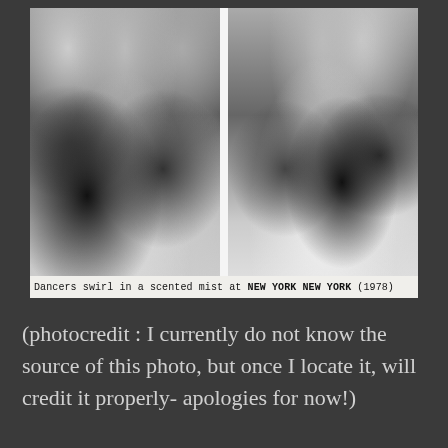[Figure (photo): Black and white photograph showing dancers swirling in a scented mist at New York New York (1978). The image appears as two side-by-side panels showing blurry figures dancing in dim lighting with background lights visible.]
Dancers swirl in a scented mist at NEW YORK NEW YORK (1978)
(photocredit : I currently do not know the source of this photo, but once I locate it, will credit it properly- apologies for now!)